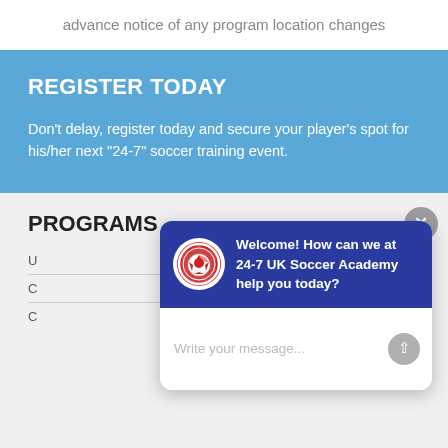advance notice of any program location changes
REGISTER TODAY
Don't delay, register today and secure your player's spot for his/her next "24-7" soccer training event.
PROGRAMS
[Figure (screenshot): Chat popup with 24-7 UK Soccer Academy logo and welcome message: 'Welcome! How can we at 24-7 UK Soccer Academy help you today?' with a message input field below.]